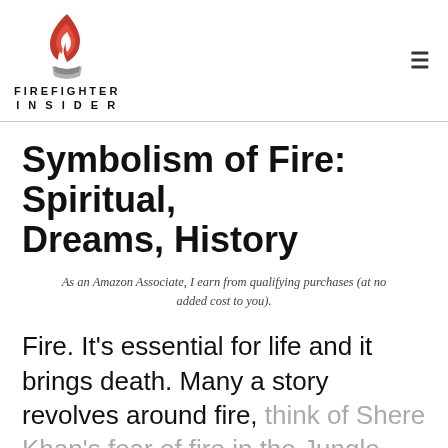FIREFIGHTER INSIDER
Symbolism of Fire: Spiritual, Dreams, History
As an Amazon Associate, I earn from qualifying purchases (at no added cost to you).
Fire. It's essential for life and it brings death. Many a story revolves around fire, think of Shere Khan's fear of fire in the Jungle Book, for example. But is there a